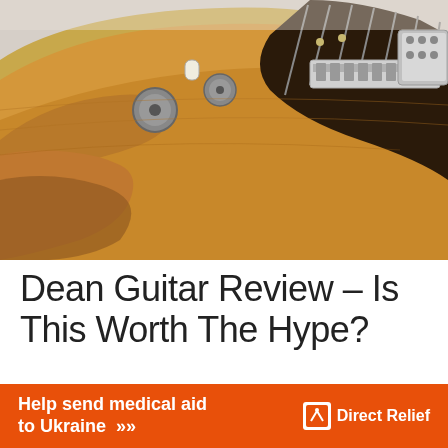[Figure (photo): Close-up photo of a golden/honey-colored electric guitar body showing the bridge, pickups, control knobs, and part of the fretboard against a light background.]
Dean Guitar Review – Is This Worth The Hype?
Dean guitars are known for their use of high-quality materials and innovative design. So, it should come as no surprise that Dean Guitars is one of the best
[Figure (other): Orange advertisement banner reading 'Help send medical aid to Ukraine >>' with Direct Relief logo on the right.]